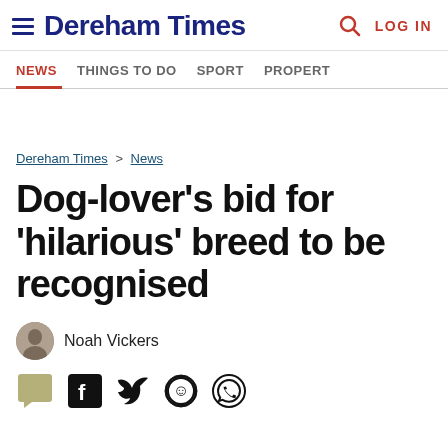Dereham Times — LOG IN
NEWS  THINGS TO DO  SPORT  PROPERTY
Dereham Times > News
Dog-lover's bid for 'hilarious' breed to be recognised
Noah Vickers